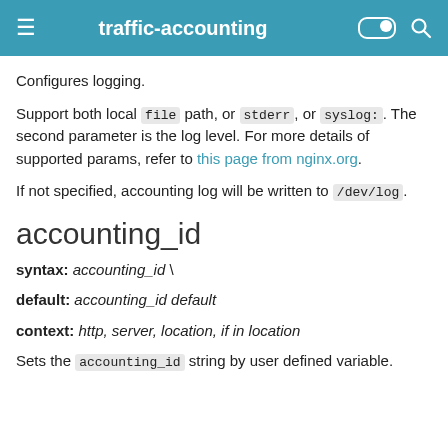traffic-accounting
Configures logging.
Support both local file path, or stderr, or syslog:. The second parameter is the log level. For more details of supported params, refer to this page from nginx.org.
If not specified, accounting log will be written to /dev/log.
accounting_id
syntax: accounting_id \
default: accounting_id default
context: http, server, location, if in location
Sets the accounting_id string by user defined variable.